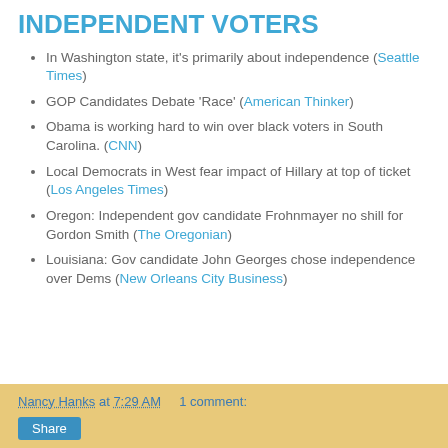INDEPENDENT VOTERS
In Washington state, it's primarily about independence (Seattle Times)
GOP Candidates Debate 'Race' (American Thinker)
Obama is working hard to win over black voters in South Carolina. (CNN)
Local Democrats in West fear impact of Hillary at top of ticket (Los Angeles Times)
Oregon: Independent gov candidate Frohnmayer no shill for Gordon Smith (The Oregonian)
Louisiana: Gov candidate John Georges chose independence over Dems (New Orleans City Business)
Nancy Hanks at 7:29 AM   1 comment:   Share